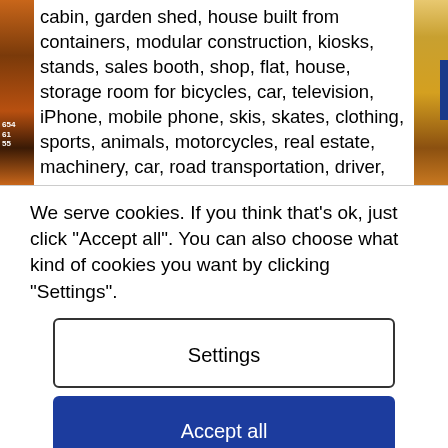cabin, garden shed, house built from containers, modular construction, kiosks, stands, sales booth, shop, flat, house, storage room for bicycles, car, television, iPhone, mobile phone, skis, skates, clothing, sports, animals, motorcycles, real estate, machinery, car, road transportation, driver, free, discount, special offer, women's, men's, children's
We serve cookies. If you think that's ok, just click "Accept all". You can also choose what kind of cookies you want by clicking "Settings".
Settings
Accept all